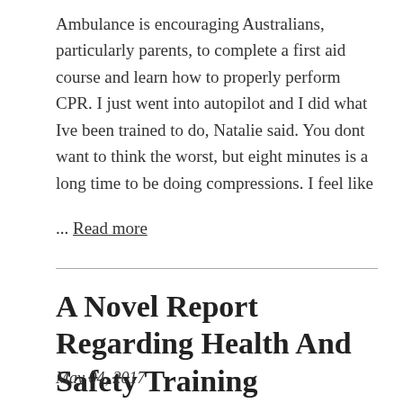Ambulance is encouraging Australians, particularly parents, to complete a first aid course and learn how to properly perform CPR. I just went into autopilot and I did what Ive been trained to do, Natalie said. You dont want to think the worst, but eight minutes is a long time to be doing compressions. I feel like
... Read more
A Novel Report Regarding Health And Safety Training
May 04, 2017